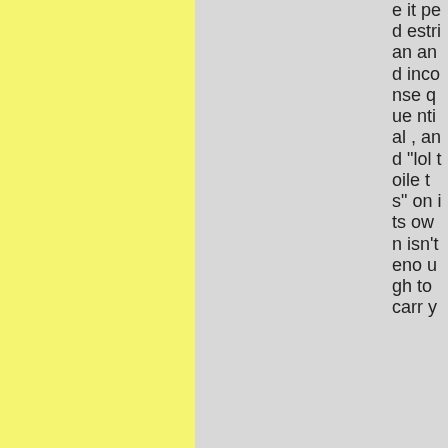e it pedestrian and inconsequential, and "lol toilets" on its own isn't enough to carry